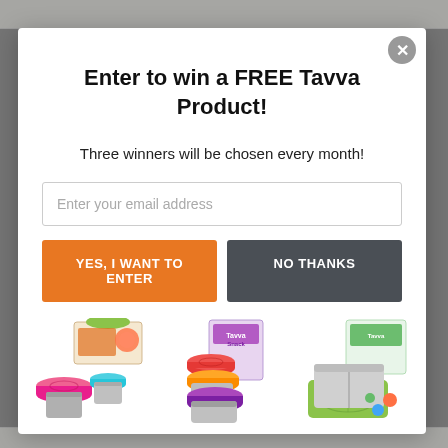Enter to win a FREE Tavva Product!
Three winners will be chosen every month!
Enter your email address
YES, I WANT TO ENTER
NO THANKS
[Figure (photo): Three Tavva product sets: colorful silicone lid snack containers with packaging, stacked stainless steel snack bowls with colorful lids and Tavva Snack box, and a stainless steel lunch box with green silicone lid and colorful food cups.]